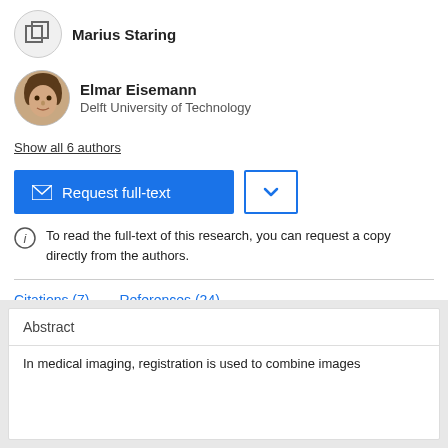Marius Staring
Elmar Eisemann
Delft University of Technology
Show all 6 authors
Request full-text
To read the full-text of this research, you can request a copy directly from the authors.
Citations (7)   References (24)
Abstract
In medical imaging, registration is used to combine images